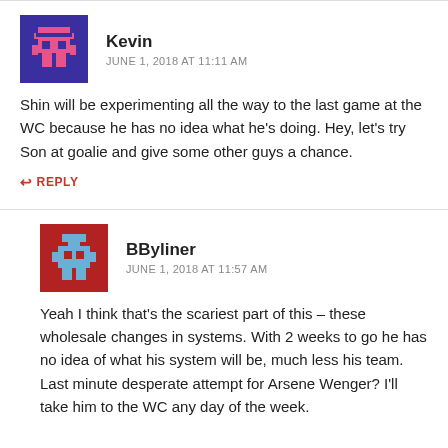Kevin — JUNE 1, 2018 AT 11:11 AM
Shin will be experimenting all the way to the last game at the WC because he has no idea what he's doing. Hey, let's try Son at goalie and give some other guys a chance.
REPLY
BByliner — JUNE 1, 2018 AT 11:57 AM
Yeah I think that's the scariest part of this – these wholesale changes in systems. With 2 weeks to go he has no idea of what his system will be, much less his team. Last minute desperate attempt for Arsene Wenger? I'll take him to the WC any day of the week.